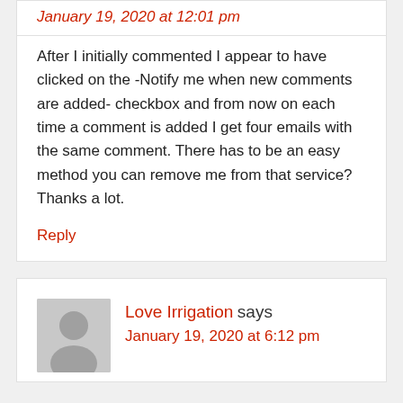January 19, 2020 at 12:01 pm
After I initially commented I appear to have clicked on the -Notify me when new comments are added- checkbox and from now on each time a comment is added I get four emails with the same comment. There has to be an easy method you can remove me from that service? Thanks a lot.
Reply
Love Irrigation says
January 19, 2020 at 6:12 pm